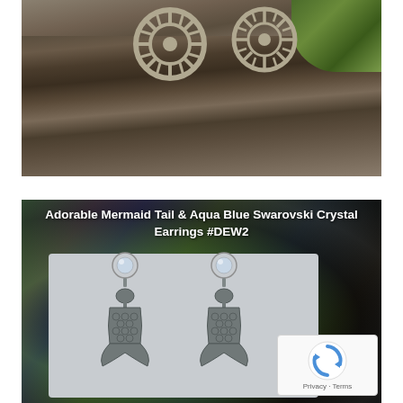[Figure (photo): A photo of decorative wheel/gear-shaped metal earrings resting on a weathered stone or log surface, with green foliage visible in the upper right corner.]
[Figure (photo): Product photo of Adorable Mermaid Tail & Aqua Blue Swarovski Crystal Earrings #DEW2. The earrings are displayed on a grey card against an iridescent abalone shell background. Each earring has a crystal stud top and a mermaid tail pendant. A reCAPTCHA widget is visible in the bottom right corner.]
Adorable Mermaid Tail & Aqua Blue Swarovski Crystal Earrings #DEW2